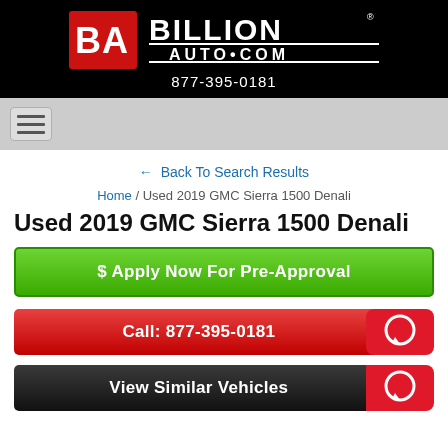[Figure (logo): Billion Auto logo with BA monogram in red square and BILLION AUTO.COM text in white on black background]
877-395-0181
[Figure (other): Hamburger menu navigation button (three horizontal lines) on gray bar]
← Back To Search Results
Home / Used 2019 GMC Sierra 1500 Denali
Used 2019 GMC Sierra 1500 Denali
$ Apply Now For Pre-Approval
Call: 877-395-0181
View Similar Vehicles